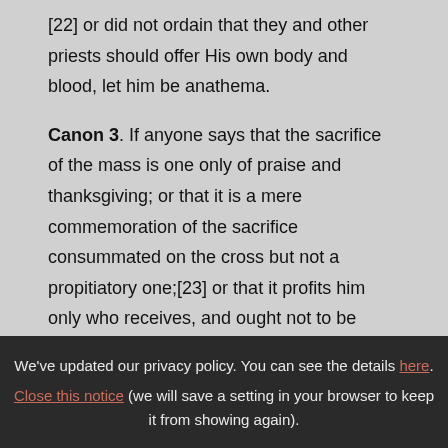[22] or did not ordain that they and other priests should offer His own body and blood, let him be anathema.
Canon 3. If anyone says that the sacrifice of the mass is one only of praise and thanksgiving; or that it is a mere commemoration of the sacrifice consummated on the cross but not a propitiatory one;[23] or that it profits him only who receives, and ought not to be offered for the living and the
We've updated our privacy policy. You can see the details here. Close this notice (we will save a setting in your browser to keep it from showing again).